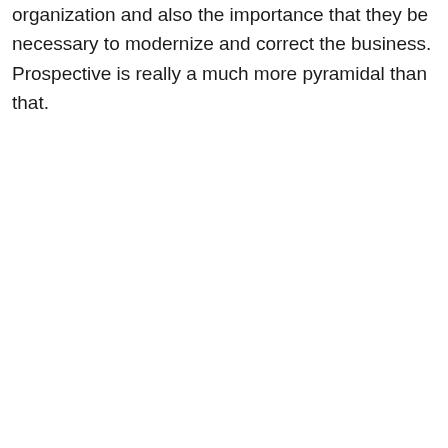organization and also the importance that they be necessary to modernize and correct the business. Prospective is really a much more pyramidal than that.